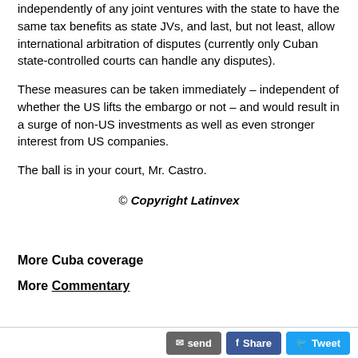independently of any joint ventures with the state to have the same tax benefits as state JVs, and last, but not least, allow international arbitration of disputes (currently only Cuban state-controlled courts can handle any disputes).
These measures can be taken immediately – independent of whether the US lifts the embargo or not – and would result in a surge of non-US investments as well as even stronger interest from US companies.
The ball is in your court, Mr. Castro.
© Copyright Latinvex
More Cuba coverage
More Commentary
send  Share  Tweet